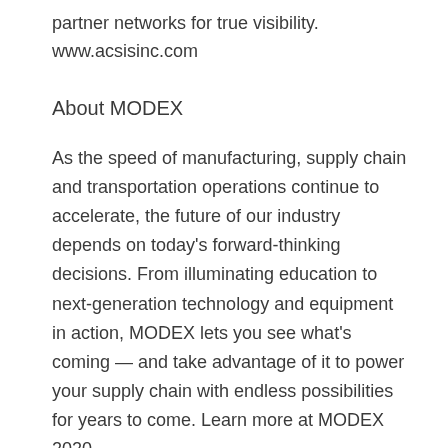partner networks for true visibility.
www.acsisinc.com
About MODEX
As the speed of manufacturing, supply chain and transportation operations continue to accelerate, the future of our industry depends on today's forward-thinking decisions. From illuminating education to next-generation technology and equipment in action, MODEX lets you see what's coming — and take advantage of it to power your supply chain with endless possibilities for years to come. Learn more at MODEX 2020.